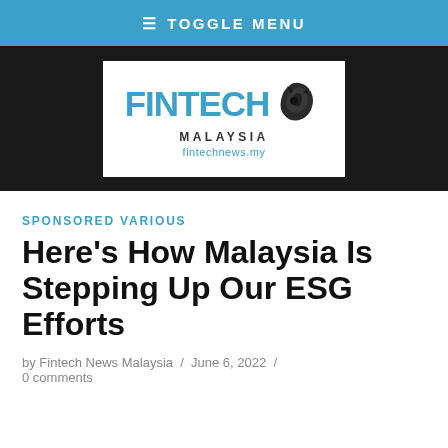≡ TOGGLE MENU
[Figure (logo): Fintech Malaysia logo with tiger head illustration, text reads FINTECH MALAYSIA fintechnews.my]
SPONSORED VARIOUS
Here's How Malaysia Is Stepping Up Our ESG Efforts
by Fintech News Malaysia / June 6, 2022 / 0 comments